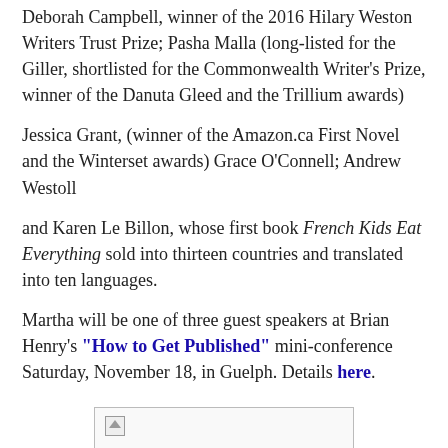Deborah Campbell, winner of the 2016 Hilary Weston Writers Trust Prize; Pasha Malla (long-listed for the Giller, shortlisted for the Commonwealth Writer's Prize, winner of the Danuta Gleed and the Trillium awards)
Jessica Grant, (winner of the Amazon.ca First Novel and the Winterset awards) Grace O'Connell; Andrew Westoll
and Karen Le Billon, whose first book French Kids Eat Everything sold into thirteen countries and translated into ten languages.
Martha will be one of three guest speakers at Brian Henry's "How to Get Published" mini-conference Saturday, November 18, in Guelph. Details here.
[Figure (photo): A broken/placeholder image thumbnail in a bordered box]